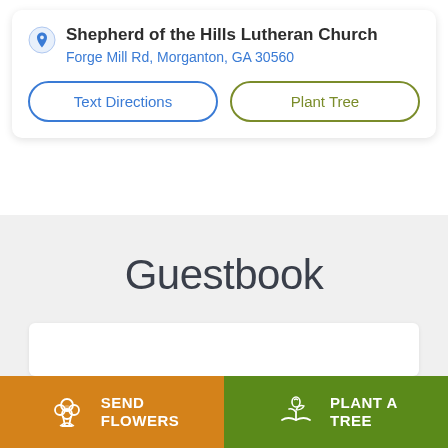Shepherd of the Hills Lutheran Church
Forge Mill Rd, Morganton, GA 30560
Text Directions
Plant Tree
Guestbook
SEND FLOWERS
PLANT A TREE